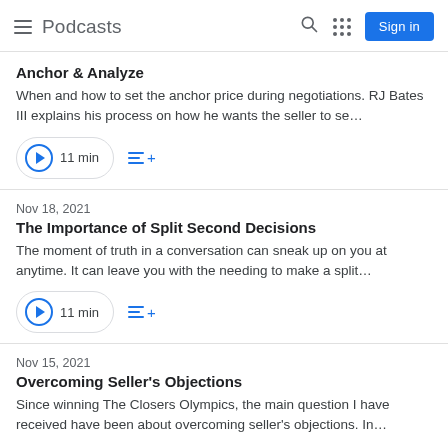Podcasts
Anchor & Analyze
When and how to set the anchor price during negotiations. RJ Bates III explains his process on how he wants the seller to se…
Nov 18, 2021
The Importance of Split Second Decisions
The moment of truth in a conversation can sneak up on you at anytime. It can leave you with the needing to make a split…
Nov 15, 2021
Overcoming Seller's Objections
Since winning The Closers Olympics, the main question I have received have been about overcoming seller's objections. In…